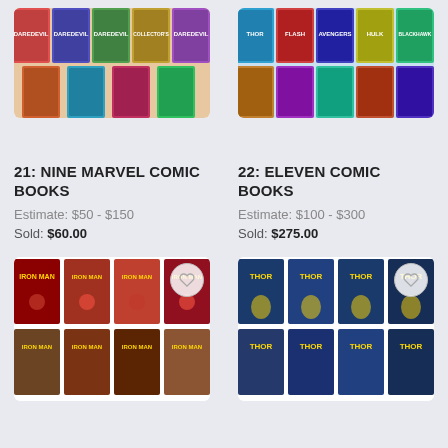[Figure (photo): Lot 21 comic books image (top, cropped) - Nine Marvel comic books spread out]
[Figure (photo): Lot 22 comic books image (top, cropped) - Eleven comic books including Flash and others]
21: NINE MARVEL COMIC BOOKS
Estimate: $50 - $150
Sold: $60.00
22: ELEVEN COMIC BOOKS
Estimate: $100 - $300
Sold: $275.00
[Figure (photo): Lot 23 Iron Man comic books - grid of Iron Man comics]
[Figure (photo): Lot 24 Thor comic books - grid of Thor comics]